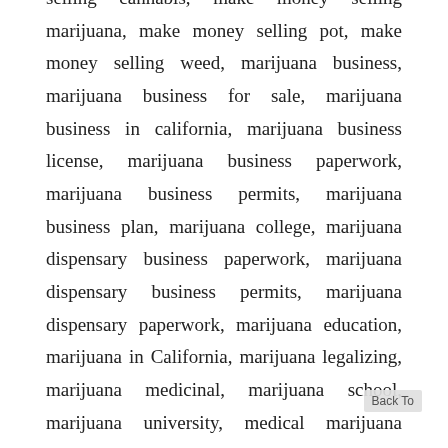selling cannabis, make money selling marijuana, make money selling pot, make money selling weed, marijuana business, marijuana business for sale, marijuana business in california, marijuana business license, marijuana business paperwork, marijuana business permits, marijuana business plan, marijuana college, marijuana dispensary business paperwork, marijuana dispensary business permits, marijuana dispensary paperwork, marijuana education, marijuana in California, marijuana legalizing, marijuana medicinal, marijuana school, marijuana university, medical marijuana business license, medical marijuana business permits, medical marijuana California, medical marijuana dispensary paperwork, medical marijuana education, medical marijuana in California, opening a medical marijuana dispensary, pot